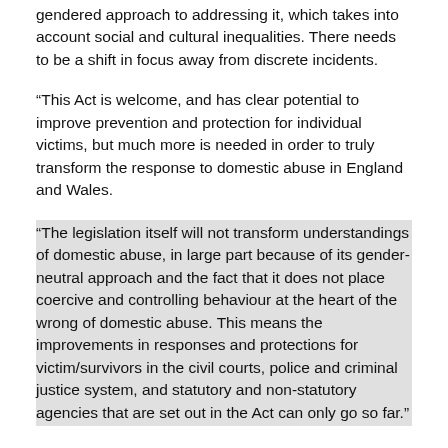gendered approach to addressing it, which takes into account social and cultural inequalities. There needs to be a shift in focus away from discrete incidents.
“This Act is welcome, and has clear potential to improve prevention and protection for individual victims, but much more is needed in order to truly transform the response to domestic abuse in England and Wales.
“The legislation itself will not transform understandings of domestic abuse, in large part because of its gender-neutral approach and the fact that it does not place coercive and controlling behaviour at the heart of the wrong of domestic abuse. This means the improvements in responses and protections for victim/survivors in the civil courts, police and criminal justice system, and statutory and non-statutory agencies that are set out in the Act can only go so far.”
The study says the wide-ranging provisions under the Domestic Abuse Act have the potential to protect many more victims and prevent abuse from continuing and escalating. These include enhanced protection orders, new measures for